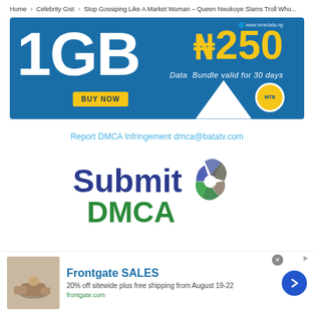Home › Celebrity Gist › Stop Gossiping Like A Market Woman – Queen Nwokoye Slams Troll Who...
[Figure (infographic): Advertisement banner for 1GB data bundle for ₦250, valid for 30 days. Blue background with large white '1GB' text, gold '₦250' price, 'BUY NOW' button, MTN logo, and website www.smedata.ng]
Report DMCA Infringement dmca@batatv.com
[Figure (logo): Submit DMCA logo with dark blue 'Submit' text and green/grey pinwheel icon beside 'DMCA' in green text]
[Figure (infographic): Frontgate SALES advertisement: 20% off sitewide plus free shipping from August 19-22. frontgate.com]